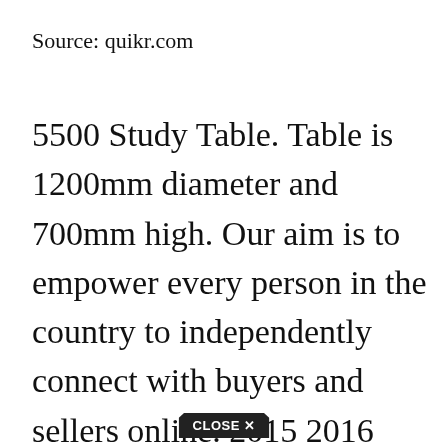Source: quikr.com
5500 Study Table. Table is 1200mm diameter and 700mm high. Our aim is to empower every person in the country to independently connect with buyers and sellers online. 2015 2016 2020 accessories acrylic aerogarden Affordable alissa allen alpha Alternative amazon American Angeles Antique Appliances assignments Atlanta Attic Back Backing Backsplash ballot
[Figure (other): Close button overlay at bottom of page reading 'CLOSE X']